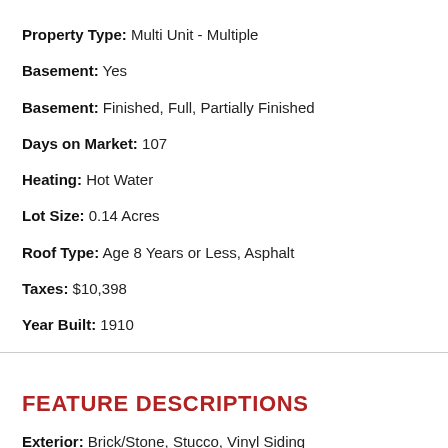Property Type: Multi Unit - Multiple
Basement: Yes
Basement: Finished, Full, Partially Finished
Days on Market: 107
Heating: Hot Water
Lot Size: 0.14 Acres
Roof Type: Age 8 Years or Less, Asphalt
Taxes: $10,398
Year Built: 1910
FEATURE DESCRIPTIONS
Exterior: Brick/Stone, Stucco, Vinyl Siding